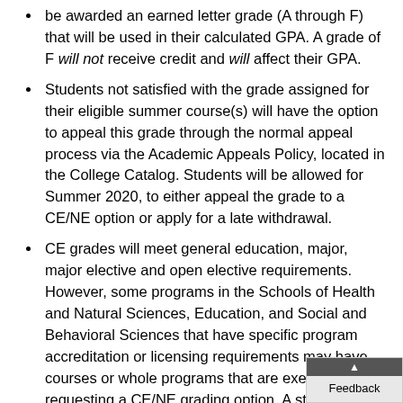be awarded an earned letter grade (A through F) that will be used in their calculated GPA. A grade of F will not receive credit and will affect their GPA.
Students not satisfied with the grade assigned for their eligible summer course(s) will have the option to appeal this grade through the normal appeal process via the Academic Appeals Policy, located in the College Catalog. Students will be allowed for Summer 2020, to either appeal the grade to a CE/NE option or apply for a late withdrawal.
CE grades will meet general education, major, major elective and open elective requirements. However, some programs in the Schools of Health and Natural Sciences, Education, and Social and Behavioral Sciences that have specific program accreditation or licensing requirements may have courses or whole programs that are exempt from requesting a CE/NE grading option. A student in one of these programs should not request the CE/NE grading witho...